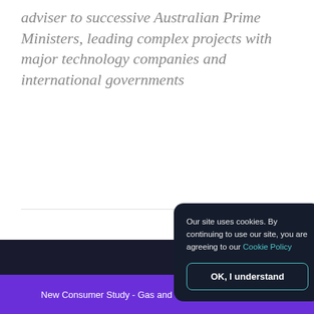adviser to successive Australian Prime Ministers, leading complex projects with major technology companies and international governments
Tagged: mobile pickup ,
Our site uses cookies. By continuing to use our site, you are agreeing to our Cookie Policy
OK, I understand
New Consumer Study - Gas and Convenience Read Now